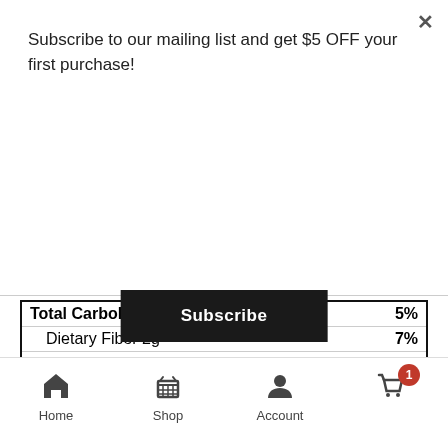Subscribe to our mailing list and get $5 OFF your first purchase!
Subscribe
| Nutrient | % DV |
| --- | --- |
| Total Carbohydrate 15g | 5% |
| Dietary Fiber 2g | 7% |
| Total Sugars 0g |  |
| Includes 0g Added Sugars | 0% |
| Protein 3g | 6% |
| Vitamin D 0mcg | 0% |
| Calcium 74mg | 6% |
| Iron 1mg | 6% |
| Potassium 33mg | 0% |
* The % Daily Value (DV) tells you how much a nutrient in a serving of food contributes to a daily diet. 2,000 calories a day is used for general nutrition advice.
Millet Flour, Organic Brown Ric…
Home   Shop   Account